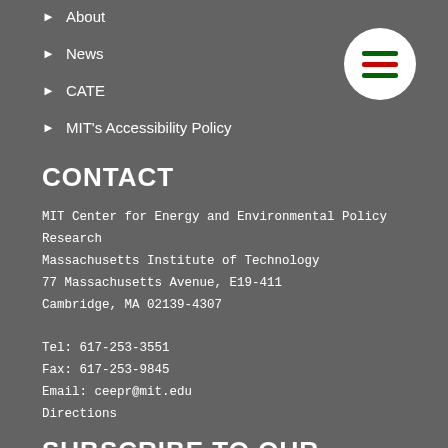▶ About
▶ News
▶ CATE
▶ MIT's Accessibility Policy
[Figure (other): Circular white menu button with three horizontal lines (hamburger icon) in green-red-green colors]
CONTACT
MIT Center for Energy and Environmental Policy Research
Massachusetts Institute of Technology
77 Massachusetts Avenue, E19-411
Cambridge, MA 02139-4307

Tel: 617-253-3551
Fax: 617-253-9845
Email: ceepr@mit.edu
Directions
SUBSCRIBE TO OUR